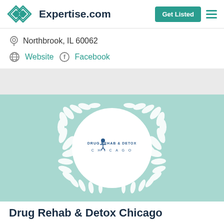Expertise.com
Northbrook, IL 60062
Website  Facebook
[Figure (logo): Drug Rehab & Detox Chicago logo inside a white circle with white laurel wreath on teal background]
Drug Rehab & Detox Chicago